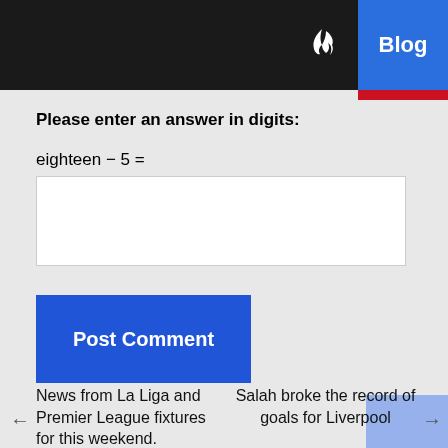Blog
Please enter an answer in digits:
eighteen − 5 =
Post Comment
News from La Liga and Premier League fixtures for this weekend.
Salah broke the record of goals for Liverpool